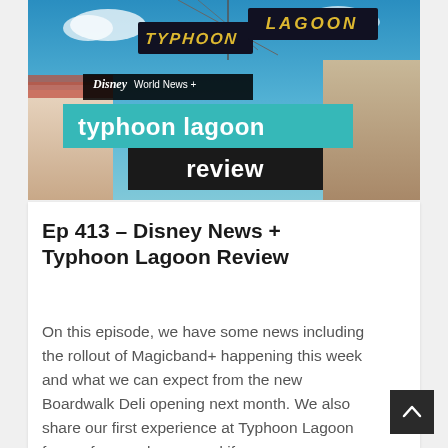[Figure (photo): Typhoon Lagoon entrance sign photo with 'Disney World News + typhoon lagoon review' overlay text on teal and black banners]
Ep 413 – Disney News + Typhoon Lagoon Review
On this episode, we have some news including the rollout of Magicband+ happening this week and what we can expect from the new Boardwalk Deli opening next month. We also share our first experience at Typhoon Lagoon from a few weeks ago and if